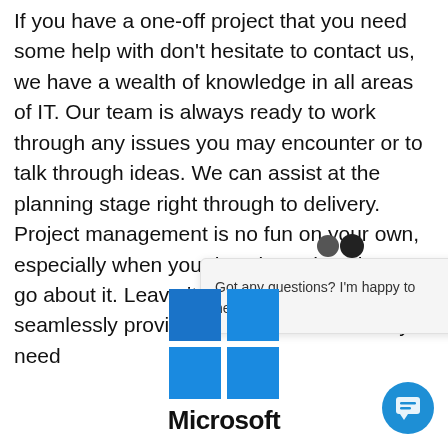If you have a one-off project that you need some help with don't hesitate to contact us, we have a wealth of knowledge in all areas of IT. Our team is always ready to work through any issues you may encounter or to talk through ideas. We can assist at the planning stage right through to delivery. Project management is no fun on your own, especially when you don't know how best to go about it. Leave it to the experts and we'll seamlessly provide you with the services you need
[Figure (screenshot): Chat popup overlay with two avatar photos and message 'Got any questions? I'm happy to help.' with a close button]
[Figure (logo): Microsoft Windows logo (four colored squares: blue top-left, blue top-right, blue bottom-left, blue bottom-right)]
Microsoft